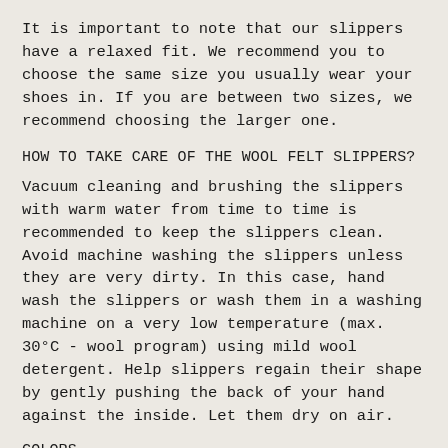It is important to note that our slippers have a relaxed fit. We recommend you to choose the same size you usually wear your shoes in. If you are between two sizes, we recommend choosing the larger one.
HOW TO TAKE CARE OF THE WOOL FELT SLIPPERS?
Vacuum cleaning and brushing the slippers with warm water from time to time is recommended to keep the slippers clean. Avoid machine washing the slippers unless they are very dirty. In this case, hand wash the slippers or wash them in a washing machine on a very low temperature (max. 30°C - wool program) using mild wool detergent. Help slippers regain their shape by gently pushing the back of your hand against the inside. Let them dry on air.
COLORS